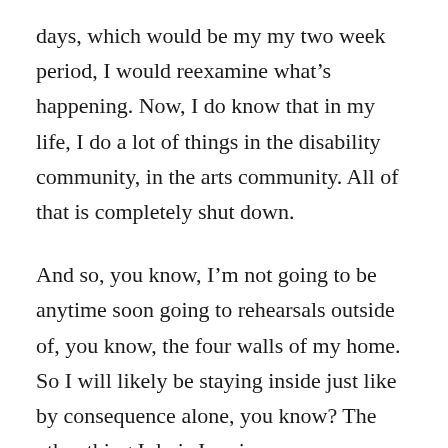days, which would be my my two week period, I would reexamine what's happening. Now, I do know that in my life, I do a lot of things in the disability community, in the arts community. All of that is completely shut down.

And so, you know, I'm not going to be anytime soon going to rehearsals outside of, you know, the four walls of my home. So I will likely be staying inside just like by consequence alone, you know? The other thing I do is I review